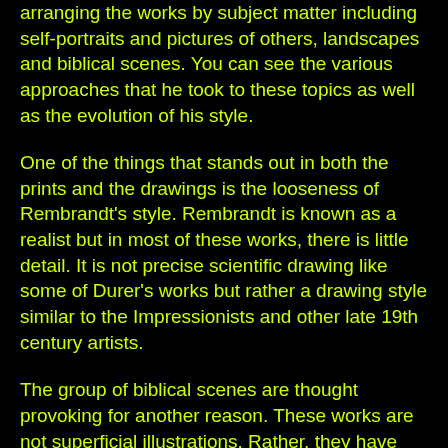arranging the works by subject matter including self-portraits and pictures of others, landscapes and biblical scenes. You can see the various approaches that he took to these topics as well as the evolution of his style.
One of the things that stands out in both the prints and the drawings is the looseness of Rembrandt's style. Rembrandt is known as a realist but in most of these works, there is little detail. It is not precise scientific drawing like some of Durer's works but rather a drawing style similar to the Impressionists and other late 19th century artists.
The group of biblical scenes are thought provoking for another reason. These works are not superficial illustrations. Rather, they have human emotions as well as drama. They appear to reveal a deep religious conviction. Perhaps they are rooted in the bible stories his mother read to him as a boy or the scripture lessons at the Latin school in Leiden. However, Rembrandt is not known to have been a member